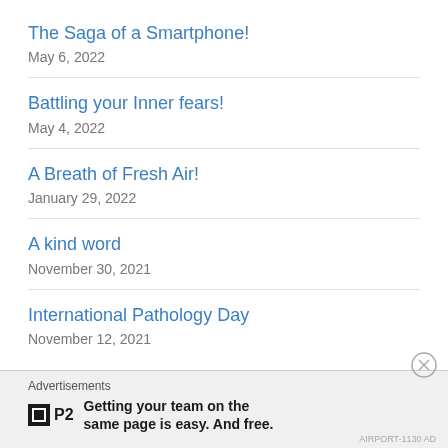The Saga of a Smartphone!
May 6, 2022
Battling your Inner fears!
May 4, 2022
A Breath of Fresh Air!
January 29, 2022
A kind word
November 30, 2021
International Pathology Day
November 12, 2021
Advertisements
P2 — Getting your team on the same page is easy. And free.